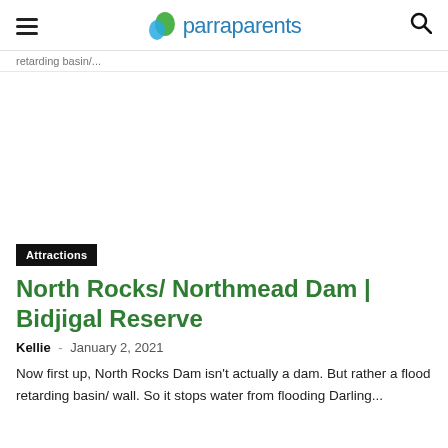parraparents
retarding basin/...
Attractions
North Rocks/ Northmead Dam | Bidjigal Reserve
Kellie - January 2, 2021
Now first up, North Rocks Dam isn't actually a dam. But rather a flood retarding basin/ wall. So it stops water from flooding Darling...